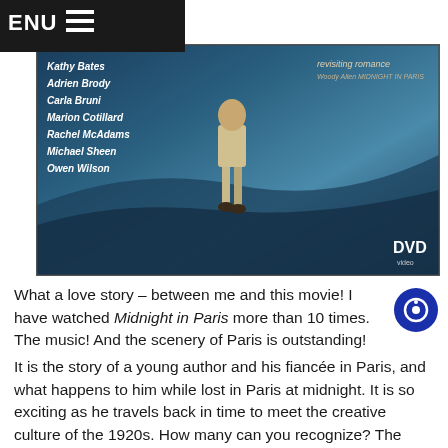MENU
[Figure (photo): DVD movie cover for Midnight in Paris showing a person walking, with cast names listed on the left including Kathy Bates, Adrien Brody, Carla Bruni, Marion Cotillard, Rachel McAdams, Michael Sheen, Owen Wilson. Text 'revisiting romance' on the right with a DVD logo in the bottom right corner.]
What a love story – between me and this movie! I have watched Midnight in Paris more than 10 times. The music! And the scenery of Paris is outstanding!
It is the story of a young author and his fiancée in Paris, and what happens to him while lost in Paris at midnight. It is so exciting as he travels back in time to meet the creative culture of the 1920s. How many can you recognize? The characters are played exactly according to their real personalities. Hemingway (Corey Stoll) – straightforward, tough drinker; Zelda (Alison Pill) and F. Scott Fitzgerald (Tom Hiddleston) – as crazy as they were in real life; and Picasso (Marcial Di Fonzo Bo)… Be